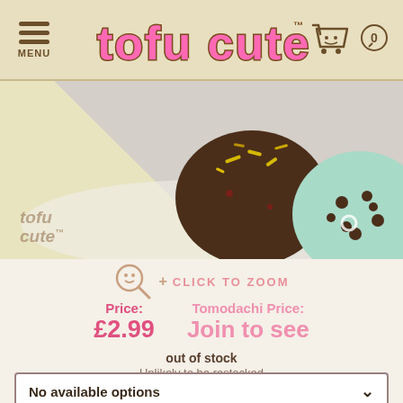[Figure (logo): Tofu Cute website header with menu icon, pink cursive logo 'tofu cute', shopping cart icon and '0' badge]
[Figure (photo): Product photo showing two squishy food-shaped phone charms (chocolate brownie and mint chocolate chip) on a white plate, with tofu cute watermark]
[Figure (other): Click to zoom icon with magnifying glass and smiley face]
Price: £2.99   Tomodachi Price: Join to see
out of stock
Unlikely to be restocked
No available options
ADD TO WISHLIST ♥
Squishy and scented phone charm, length approximately 10cm